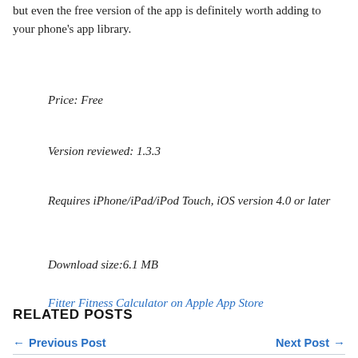but even the free version of the app is definitely worth adding to your phone's app library.
Price: Free
Version reviewed: 1.3.3
Requires iPhone/iPad/iPod Touch, iOS version 4.0 or later
Download size:6.1 MB
Fitter Fitness Calculator on Apple App Store
RELATED POSTS
← Previous Post
Next Post →